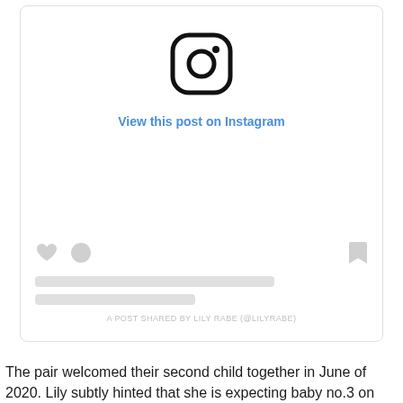[Figure (screenshot): An Instagram embed placeholder showing the Instagram camera logo, 'View this post on Instagram' link in blue, placeholder action icons (heart, comment bubble, bookmark), two gray loading bars, and attribution text 'A POST SHARED BY LILY RABE (@LILYRABE)']
The pair welcomed their second child together in June of 2020. Lily subtly hinted that she is expecting baby no.3 on